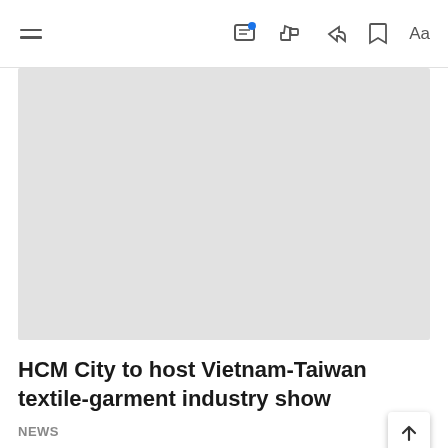≡  [comment icon] [like icon] [share icon] [bookmark icon] Aa
[Figure (photo): Large light gray image placeholder at the top of the article]
HCM City to host Vietnam-Taiwan textile-garment industry show
NEWS
[Figure (photo): Light gray image placeholder at the bottom of the page]